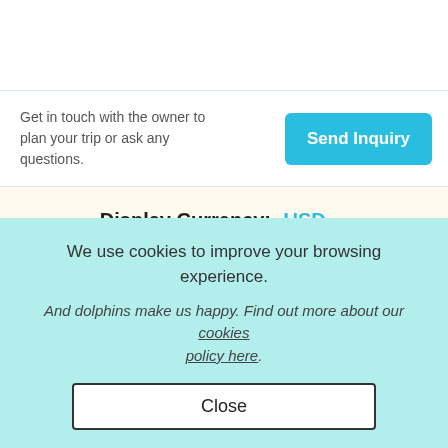Get in touch with the owner to plan your trip or ask any questions.
Send Inquiry
Display Currency: USD
Real reviews from happy GetMyBoaters.
★★★★★ 4.9 out of 5!
We use cookies to improve your browsing experience.
And dolphins make us happy. Find out more about our cookies policy here.
Close